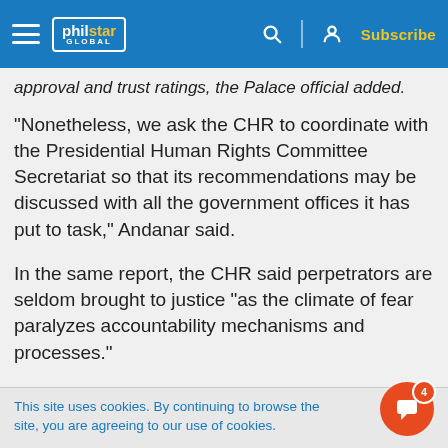philstar GLOBAL — Subscribe
approval and trust ratings, the Palace official added.
“Nonetheless, we ask the CHR to coordinate with the Presidential Human Rights Committee Secretariat so that its recommendations may be discussed with all the government offices it has put to task,” Andanar said.
In the same report, the CHR said perpetrators are seldom brought to justice “as the climate of fear paralyzes accountability mechanisms and processes."
This site uses cookies. By continuing to browse the site, you are agreeing to our use of cookies.